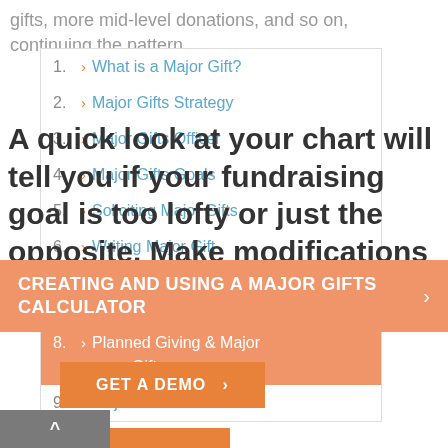gifts, more mid-level donations, and so on, continuing the pattern.
1. What is a Major Gift?
2. Major Gifts Strategy
3. Major Gifts Officer
4. Major Gifts Goals
5. Soliciting Major Gifts
6. Writing Major Gift Proposals
7. Major Gifts Calculator
8. Planned Giving & Major Gifts
9. Major Gift Metrics
A quick look at your chart will tell you if your fundraising goal is too lofty or just the opposite. Make modifications to your campaign as needed.
CREATING AND USING A MAJOR GIFTS CALCULATOR >
GET A DEMO >